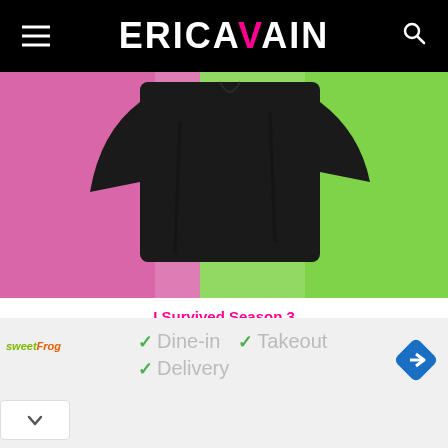ERICA VAIN
[Figure (photo): Black t-shirt on pink and green background, top product image]
I Survived Season 3
$34.00 – $36.00
Select options
[Figure (photo): Black long-sleeve shirt on green and yellow gradient background, second product image]
[Figure (screenshot): Ad banner: sweetFrog - Dine-in, Takeout, Delivery]